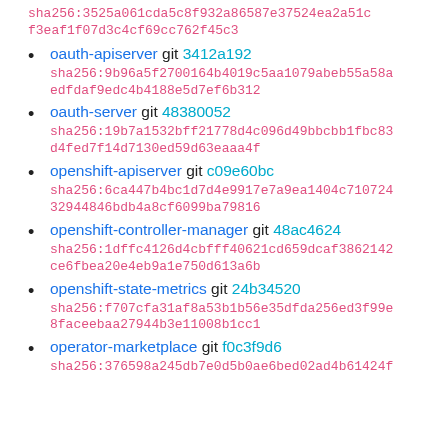sha256:3525a061cda5c8f932a86587e37524ea2a51cf3eaf1f07d3c4cf69cc762f45c3
oauth-apiserver git 3412a192 sha256:9b96a5f2700164b4019c5aa1079abeb55a58aedfdaf9edc4b4188e5d7ef6b312
oauth-server git 48380052 sha256:19b7a1532bff21778d4c096d49bbcbb1fbc83d4fed7f14d7130ed59d63eaaa4f
openshift-apiserver git c09e60bc sha256:6ca447b4bc1d7d4e9917e7a9ea1404c71072432944846bdb4a8cf6099ba79816
openshift-controller-manager git 48ac4624 sha256:1dffc4126d4cbfff40621cd659dcaf3862142ce6fbea20e4eb9a1e750d613a6b
openshift-state-metrics git 24b34520 sha256:f707cfa31af8a53b1b56e35dfda256ed3f99e8faceebaa27944b3e11008b1cc1
operator-marketplace git f0c3f9d6 sha256:376598a245db7e0d5b0ae6bed02ad4b61424f